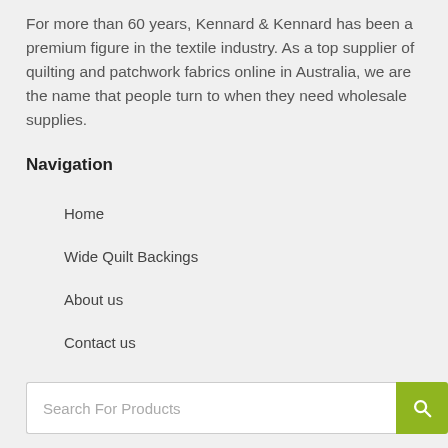For more than 60 years, Kennard & Kennard has been a premium figure in the textile industry. As a top supplier of quilting and patchwork fabrics online in Australia, we are the name that people turn to when they need wholesale supplies.
Navigation
Home
Wide Quilt Backings
About us
Contact us
Search For Products